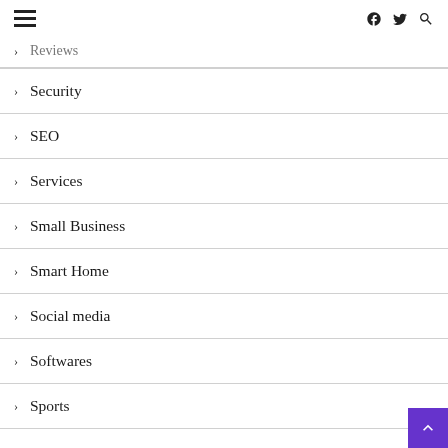☰  f  🐦  🔍
> Reviews
> Security
> SEO
> Services
> Small Business
> Smart Home
> Social media
> Softwares
> Sports